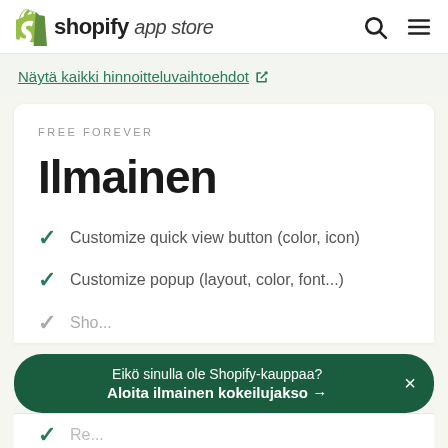shopify app store
Näytä kaikki hinnoitteluvaihtoehdot
FREE FOREVER
Ilmainen
Customize quick view button (color, icon)
Customize popup (layout, color, font...)
Eikö sinulla ole Shopify-kauppaa? Aloita ilmainen kokeilujakso →